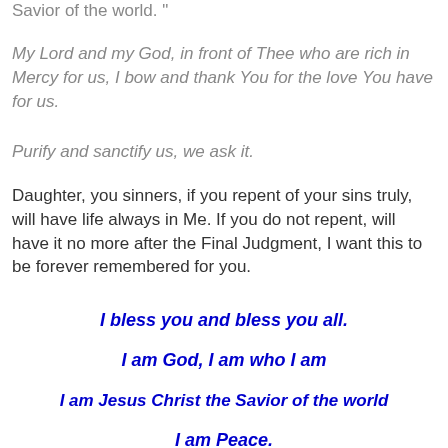Savior of the world. "
My Lord and my God, in front of Thee who are rich in Mercy for us, I bow and thank You for the love You have for us.
Purify and sanctify us, we ask it.
Daughter, you sinners, if you repent of your sins truly, will have life always in Me. If you do not repent, will have it no more after the Final Judgment, I want this to be forever remembered for you.
I bless you and bless you all.
I am God, I am who I am
I am Jesus Christ the Savior of the world
I am Peace.